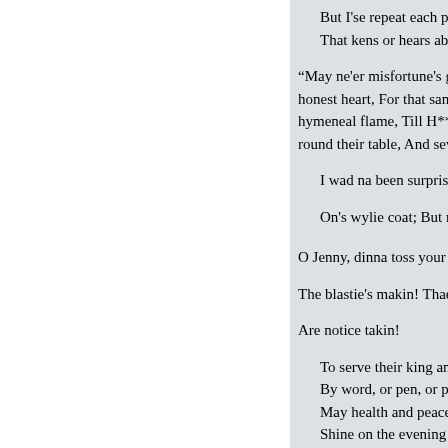But I'se repeat each poor ma...
That kens or hears about yo...
“May ne’er misfortune’s gowli... honest heart, For that same gene... hymeneal flame, Till H*******s... round their table, And seven bra...
I wad na been surprised to spy
On’s wylie coat; But miss’s fin...
O Jenny, dinna toss your head,
The blastie’s makin! Thae win...
Are notice takin!
To serve their king and cour...
By word, or pen, or pointed...
May health and peace, with...
Shine on the evening o’his o...
Till his wee curlie John’s ier...
When ebbing life nae mair s...
The last, sad, mournful rites...